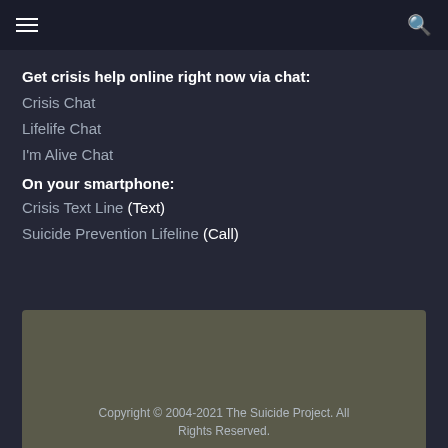☰ [menu] [search]
Get crisis help online right now via chat:
Crisis Chat
Lifelife Chat
I'm Alive Chat
On your smartphone:
Crisis Text Line (Text)
Suicide Prevention Lifeline (Call)
Copyright © 2004-2021 The Suicide Project. All Rights Reserved.